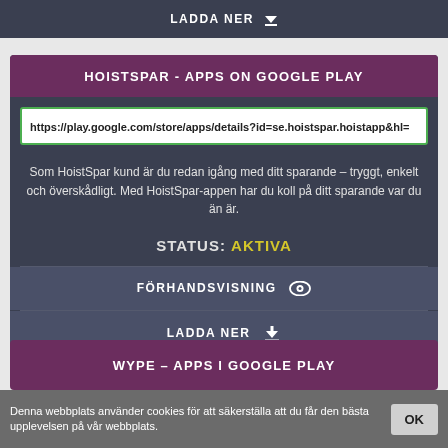LADDA NER
HOISTSPAR - APPS ON GOOGLE PLAY
https://play.google.com/store/apps/details?id=se.hoistspar.hoistapp&hl=
Som HoistSpar kund är du redan igång med ditt sparande – tryggt, enkelt och överskådligt. Med HoistSpar-appen har du koll på ditt sparande var du än är.
STATUS: AKTIVA
FÖRHANDSVISNING
LADDA NER
WYPE – APPS I GOOGLE PLAY
Denna webbplats använder cookies för att säkerställa att du får den bästa upplevelsen på vår webbplats.